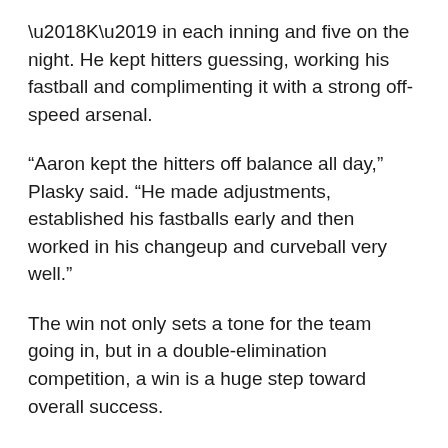'K' in each inning and five on the night. He kept hitters guessing, working his fastball and complimenting it with a strong off-speed arsenal.
“Aaron kept the hitters off balance all day,” Plasky said. “He made adjustments, established his fastballs early and then worked in his changeup and curveball very well.”
The win not only sets a tone for the team going in, but in a double-elimination competition, a win is a huge step toward overall success.
This tournament will determine which team is to represent the district in the state little league tournament later this summer. The winner of the state will then go on to represent Connecticut in the northeast competition, in hopes of booking a ticket to Williamsport, Pa., and the Little League